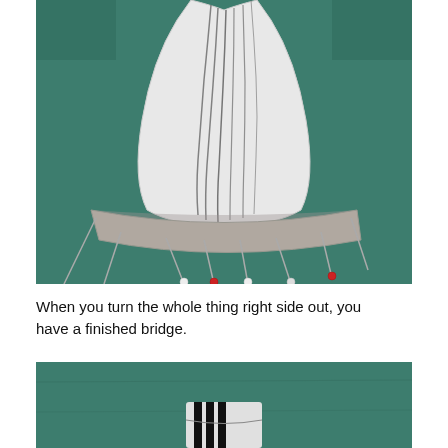[Figure (photo): A fabric bra bridge piece pinned to a green cutting mat. The white fabric panel with pencil markings forms a triangular/arch shape, attached to a curved gray underwire casing along the bottom. Several straight pins with white and red heads are inserted through the fabric into the mat.]
When you turn the whole thing right side out, you have a finished bridge.
[Figure (photo): Partial view of the finished bridge piece on a green cutting mat, showing the bottom portion of the fabric piece turned right side out.]